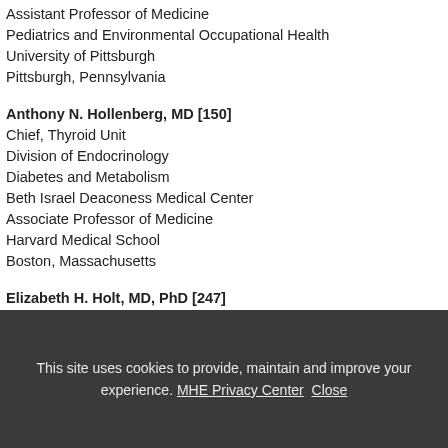Assistant Professor of Medicine
Pediatrics and Environmental Occupational Health
University of Pittsburgh
Pittsburgh, Pennsylvania
Anthony N. Hollenberg, MD [150]
Chief, Thyroid Unit
Division of Endocrinology
Diabetes and Metabolism
Beth Israel Deaconess Medical Center
Associate Professor of Medicine
Harvard Medical School
Boston, Massachusetts
Elizabeth H. Holt, MD, PhD [247]
This site uses cookies to provide, maintain and improve your experience. MHE Privacy Center Close